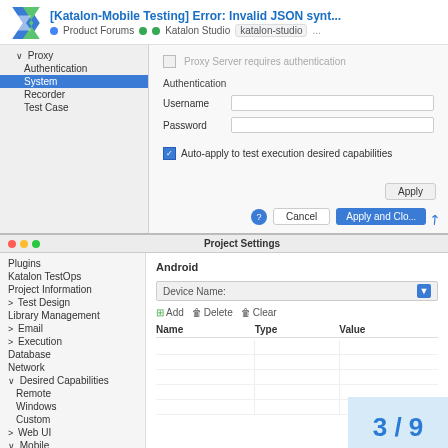[Katalon-Mobile Testing] Error: Invalid JSON synt... • Product Forums •• Katalon Studio katalon-studio ...
[Figure (screenshot): Katalon Studio Proxy settings panel showing Authentication section with Username and Password fields, Auto-apply checkbox, and Apply/Cancel/Apply and Close buttons]
[Figure (screenshot): Katalon Studio Project Settings window showing Android desired capabilities with Device Name field, Add/Delete/Clear toolbar, and Name/Type/Value table]
3 / 9